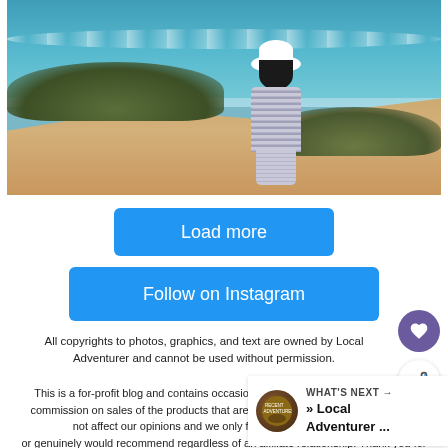[Figure (photo): Woman in striped dress and white hat standing on sandy coastal cliffs overlooking the ocean with green shrubs around her, viewed from behind.]
Load more
Follow on Instagram
All copyrights to photos, graphics, and text are owned by Local Adventurer and cannot be used without permission.
This is a for-profit blog and contains occasional affiliate links, where we earn a commission on sales of the products that are linked at no additional cost to you. This does not affect our opinions and we only feature products that we already own or genuinely would recommend regardless of an affiliate relationship. Thank you for supporting Local
WHAT'S NEXT → » Local Adventurer ...